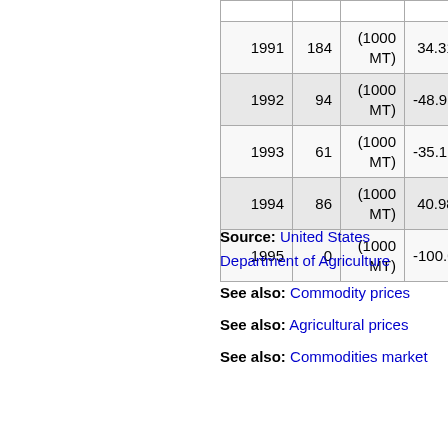| Year | Value | Unit | Change% |
| --- | --- | --- | --- |
| 1991 | 184 | (1000 MT) | 34.31% |
| 1992 | 94 | (1000 MT) | -48.91% |
| 1993 | 61 | (1000 MT) | -35.11% |
| 1994 | 86 | (1000 MT) | 40.98% |
| 1995 | 0 | (1000 MT) | -100.00% |
Source: United States Department of Agriculture
See also: Commodity prices
See also: Agricultural prices
See also: Commodities market